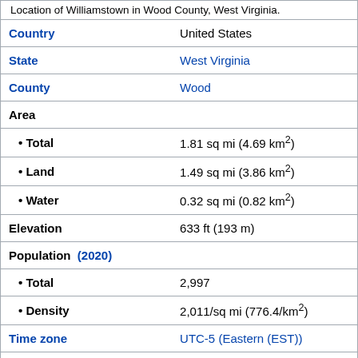Location of Williamstown in Wood County, West Virginia.
| Field | Value |
| --- | --- |
| Country | United States |
| State | West Virginia |
| County | Wood |
| Area |  |
| • Total | 1.81 sq mi (4.69 km²) |
| • Land | 1.49 sq mi (3.86 km²) |
| • Water | 0.32 sq mi (0.82 km²) |
| Elevation | 633 ft (193 m) |
| Population (2020) |  |
| • Total | 2,997 |
| • Density | 2,011/sq mi (776.4/km²) |
| Time zone | UTC-5 (Eastern (EST)) |
| • Summer (DST) | UTC-4 (EDT) |
| ZIP code | 26187 |